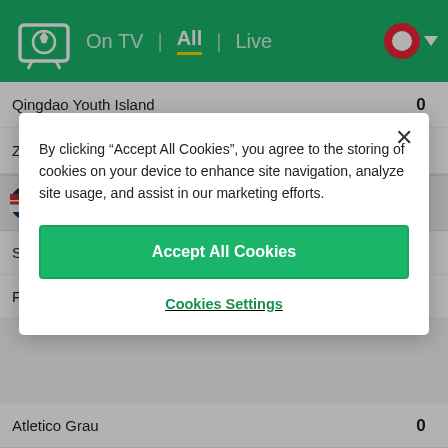On TV | All | Live
Qingdao Youth Island  0
Zibo Cuju  0
1st Deild
Selfoss  2
Fjolnir  0
By clicking “Accept All Cookies”, you agree to the storing of cookies on your device to enhance site navigation, analyze site usage, and assist in our marketing efforts.
Accept All Cookies
Cookies Settings
Atletico Grau  0